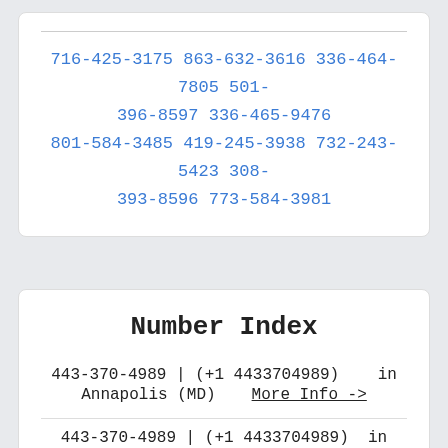716-425-3175 863-632-3616 336-464-7805 501-396-8597 336-465-9476 801-584-3485 419-245-3938 732-243-5423 308-393-8596 773-584-3981
Number Index
443-370-4989 | (+1 4433704989)   in Annapolis (MD)   More Info ->
443-370-4989 | (+1 4433704989)   in